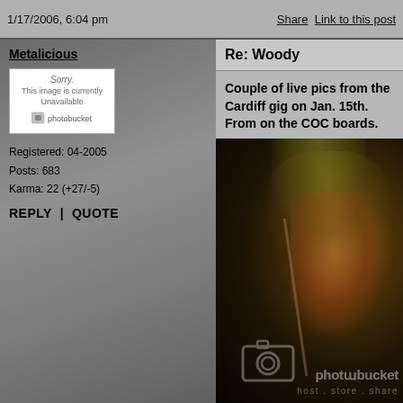1/17/2006, 6:04 pm | Share  Link to this post
Metalicious
Registered: 04-2005
Posts: 683
Karma: 22 (+27/-5)
REPLY | QUOTE
Re: Woody
Couple of live pics from the Cardiff gig on Jan. 15th. From on the COC boards.
[Figure (photo): Concert photo of a performer with long dark hair singing into a microphone on a dark stage with greenish-yellow lighting. Photobucket watermark visible in lower right.]